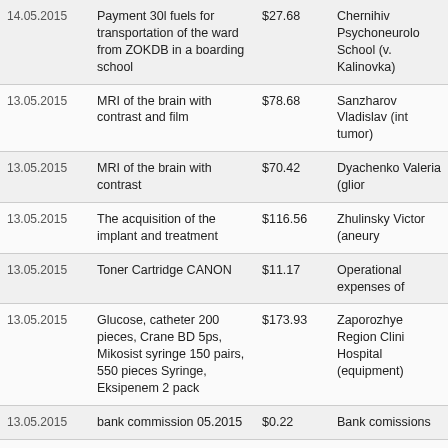| Date | Description | Amount | Recipient/Purpose |
| --- | --- | --- | --- |
| 14.05.2015 | Payment 30l fuels for transportation of the ward from ZOKDB in a boarding school | $27.68 | Chernihiv Psychoneurolo School (v. Kalinovka) |
| 13.05.2015 | MRI of the brain with contrast and film | $78.68 | Sanzharov Vladislav (int tumor) |
| 13.05.2015 | MRI of the brain with contrast | $70.42 | Dyachenko Valeria (glior |
| 13.05.2015 | The acquisition of the implant and treatment | $116.56 | Zhulinsky Victor (aneury |
| 13.05.2015 | Toner Cartridge CANON | $11.17 | Operational expenses of |
| 13.05.2015 | Glucose, catheter 200 pieces, Crane BD 5ps, Mikosist syringe 150 pairs, 550 pieces Syringe, Eksipenem 2 pack | $173.93 | Zaporozhye Region Clini Hospital (equipment) |
| 13.05.2015 | bank commission 05.2015 | $0.22 | Bank comissions |
| 13.05.2015 | Drugs: Holoxan 12 pack | $604.14 | Andrusik Stas (amelobla: fibrosarcoma) |